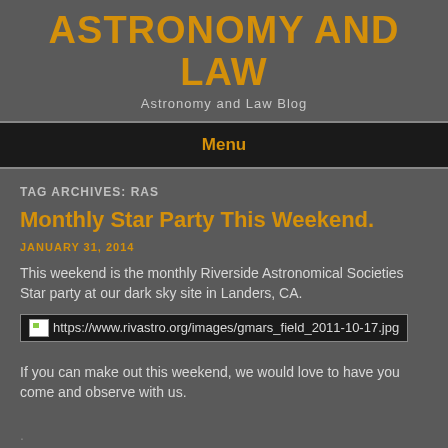ASTRONOMY AND LAW
Astronomy and Law Blog
Menu
TAG ARCHIVES: RAS
Monthly Star Party This Weekend.
JANUARY 31, 2014
This weekend is the monthly Riverside Astronomical Societies Star party at our dark sky site in Landers, CA.
[Figure (other): Broken image placeholder showing URL: https://www.rivastro.org/images/gmars_field_2011-10-17.jpg]
If you can make out this weekend, we would love to have you come and observe with us.
.